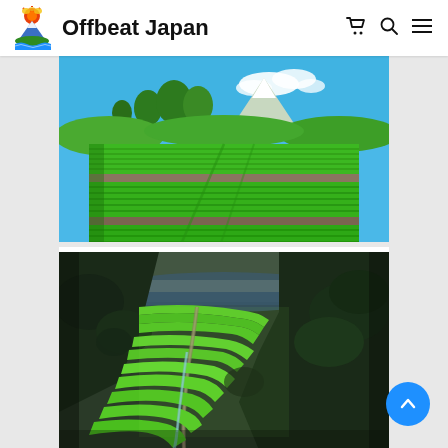Offbeat Japan
[Figure (photo): Lush green tea field terraces with Mount Fuji snow-capped in the background under a clear blue sky with trees]
[Figure (photo): Steep terraced green tea fields on a hillside with lush jungle vegetation and a path winding through, with a body of water visible in the background]